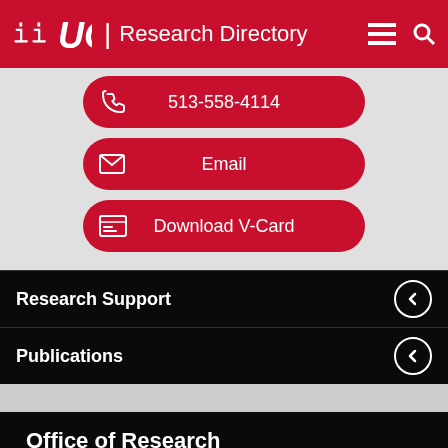UC | Research Directory
513-558-4114
Email
Download V-Card
Research Support
Publications
Office of Research
Back to Top
University Hall Suite 540, ML0663, Cincinnati, OH 45221-0663 | Email: web.central@uc.edu